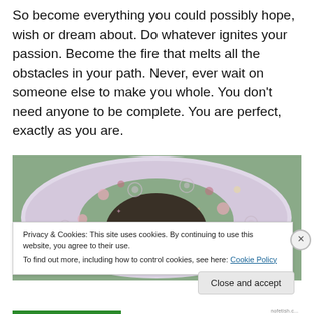So become everything you could possibly hope, wish or dream about. Do whatever ignites your passion. Become the fire that melts all the obstacles in your path. Never, ever wait on someone else to make you whole. You don’t need anyone to be complete. You are perfect, exactly as you are.
[Figure (photo): Photo of a baby or person lying down with head visible, surrounded by a round floral-patterned pillow or neck pillow with pink and white flower designs.]
Privacy & Cookies: This site uses cookies. By continuing to use this website, you agree to their use.
To find out more, including how to control cookies, see here: Cookie Policy
Close and accept